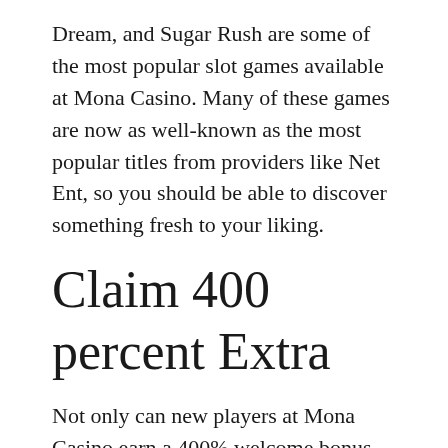Dream, and Sugar Rush are some of the most popular slot games available at Mona Casino. Many of these games are now as well-known as the most popular titles from providers like Net Ent, so you should be able to discover something fresh to your liking.
Claim 400 percent Extra
Not only can new players at Mona Casino earn a 400% welcome bonus up to €1000 on top of their initial deposit, but also on top of their first five deposits at the site. This welcome bonus is rather